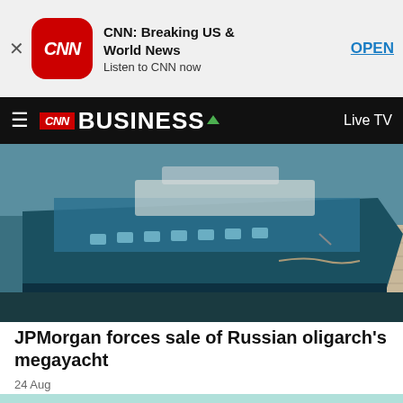[Figure (screenshot): CNN app ad banner with close button (X), CNN red icon, title 'CNN: Breaking US & World News', subtitle 'Listen to CNN now', and OPEN button]
CNN BUSINESS — Live TV
[Figure (photo): Photo of a large megayacht docked at a pier, viewed from the side showing the hull and dock]
JPMorgan forces sale of Russian oligarch's megayacht
24 Aug
[Figure (illustration): Illustration of a baseball bat and baseball on a teal/mint green background]